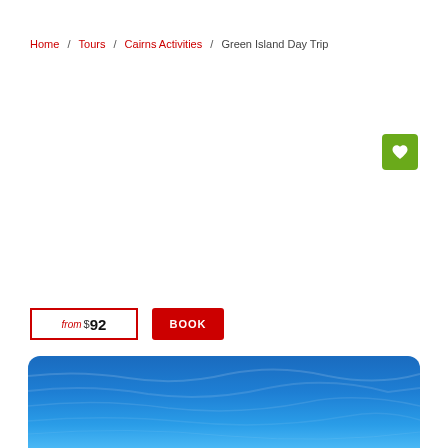Home / Tours / Cairns Activities / Green Island Day Trip
[Figure (other): Green heart/wishlist button (green square with white heart icon)]
from $92
BOOK
[Figure (photo): Ocean/sea water photo showing blue water surface, cropped at bottom of page]